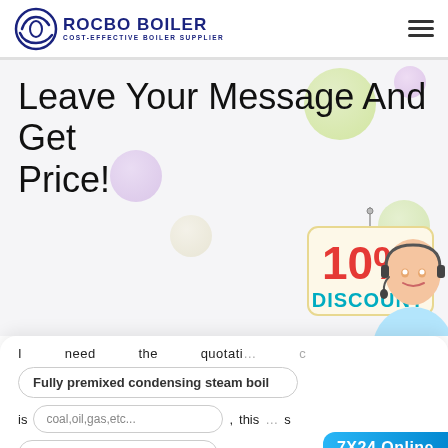[Figure (logo): Rocbo Boiler logo with circular icon and text 'ROCBO BOILER - COST-EFFECTIVE BOILER SUPPLIER']
Leave Your Message And Get Price!
[Figure (illustration): 10% DISCOUNT badge hanging from a pin]
[Figure (illustration): Customer service representative with headset]
I need the quotation of
Fully premixed condensing steam boil
is coal,oil,gas,etc..., this boilers
eg:5ton/h or 5mw
7X24 Online